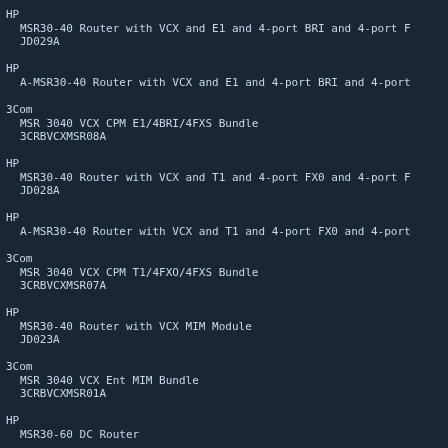HP
  MSR30-40 Router with VCX and E1 and 4-port BRI and 4-port F
  JD029A
HP
  A-MSR30-40 Router with VCX and E1 and 4-port BRI and 4-port
3Com
  MSR 3040 VCX CPM E1/4BRI/4FXS Bundle
  3CRBVCXMSR08A
HP
  MSR30-40 Router with VCX and T1 and 4-port FX0 and 4-port F
  JD028A
HP
  A-MSR30-40 Router with VCX and T1 and 4-port FX0 and 4-port
3Com
  MSR 3040 VCX CPM T1/4FXO/4FXS Bundle
  3CRBVCXMSR07A
HP
  MSR30-40 Router with VCX MIM Module
  JD023A
3Com
  MSR 3040 VCX Ent MIM Bundle
  3CRBVCXMSR01A
HP
  MSR30-60 DC Router